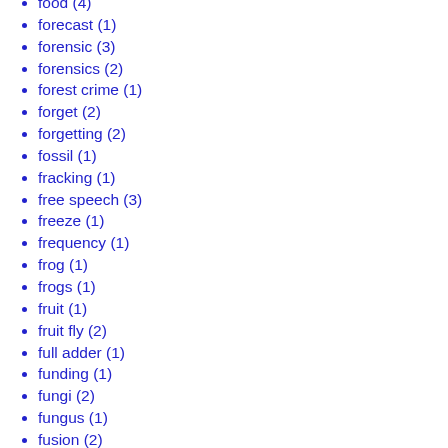food (4)
forecast (1)
forensic (3)
forensics (2)
forest crime (1)
forget (2)
forgetting (2)
fossil (1)
fracking (1)
free speech (3)
freeze (1)
frequency (1)
frog (1)
frogs (1)
fruit (1)
fruit fly (2)
full adder (1)
funding (1)
fungi (2)
fungus (1)
fusion (2)
future (7)
future science platform (1)
galaxy (2)
gambling (1)
game (1)